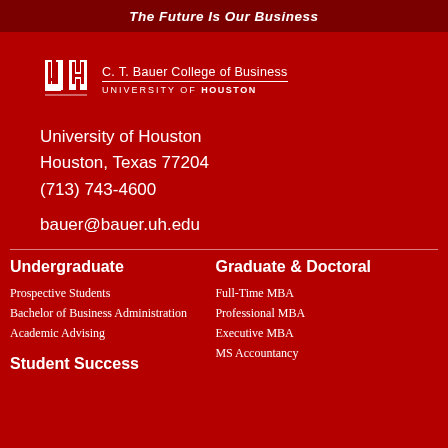The Future Is Our Business
[Figure (logo): C. T. Bauer College of Business, University of Houston logo with interlocking UH letters]
University of Houston
Houston, Texas 77204
(713) 743-4600
bauer@bauer.uh.edu
Undergraduate
Prospective Students
Bachelor of Business Administration
Academic Advising
Student Success
Graduate & Doctoral
Full-Time MBA
Professional MBA
Executive MBA
MS Accountancy